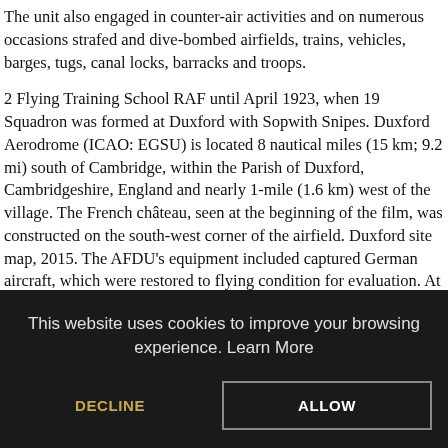The unit also engaged in counter-air activities and on numerous occasions strafed and dive-bombed airfields, trains, vehicles, barges, tugs, canal locks, barracks and troops.
2 Flying Training School RAF until April 1923, when 19 Squadron was formed at Duxford with Sopwith Snipes. Duxford Aerodrome (ICAO: EGSU) is located 8 nautical miles (15 km; 9.2 mi) south of Cambridge, within the Parish of Duxford, Cambridgeshire, England and nearly 1-mile (1.6 km) west of the village. The French château, seen at the beginning of the film, was constructed on the south-west corner of the airfield. Duxford site map, 2015. The AFDU's equipment included captured German aircraft, which were restored to flying condition for evaluation. At the end of August Air Vice-Marshal Trafford Leigh-Mallory, the commander of No. Litter can be a hazard to flying aircraft, so please use the bins provided. Duxford airfield is Prior Permission Required
This website uses cookies to improve your browsing experience. Learn More
DECLINE
ALLOW